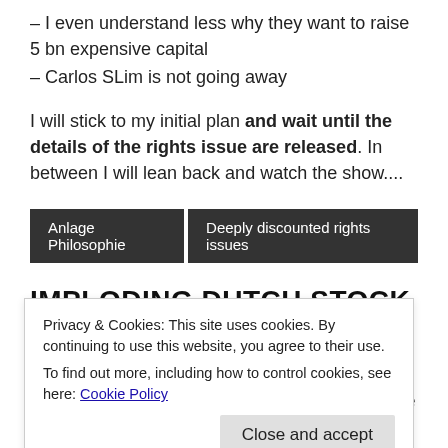– I even understand less why they want to raise 5 bn expensive capital
– Carlos SLim is not going away
I will stick to my initial plan and wait until the details of the rights issue are released. In between I will lean back and watch the show....
Anlage Philosophie   Deeply discounted rights issues
IMPLODING DUTCH STOCK OF THE WEEK:
Privacy & Cookies: This site uses cookies. By continuing to use this website, you agree to their use.
To find out more, including how to control cookies, see here: Cookie Policy
After KPN and TNT Express, we highly welcome another